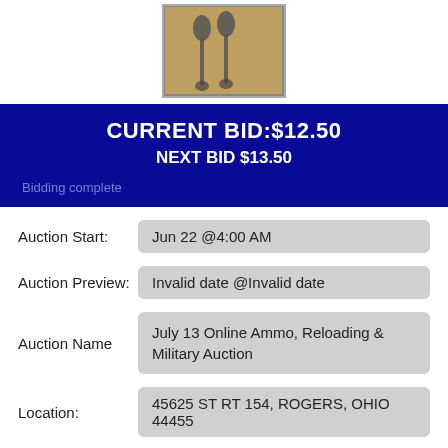[Figure (photo): Photo of two metal spoons/tools on a wooden surface]
CURRENT BID:$12.50
NEXT BID $13.50
Bidding complete
Auction Start: Jun 22 @4:00 AM
Auction Preview: Invalid date @Invalid date
Auction Name: July 13 Online Ammo, Reloading & Military Auction
Location: 45625 ST RT 154, ROGERS, OHIO 44455
Number of Bids: 1